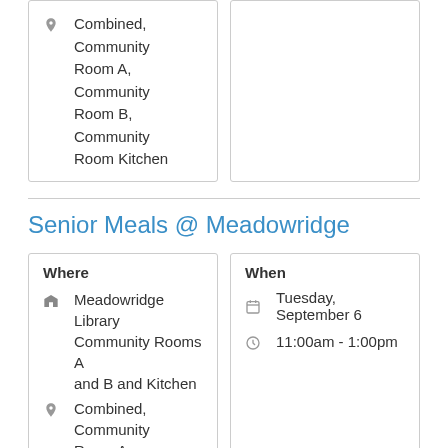Combined, Community Room A, Community Room B, Community Room Kitchen
Senior Meals @ Meadowridge
| Where | When |
| --- | --- |
| Meadowridge Library Community Rooms A and B and Kitchen Combined, Community Room A, Community Room B, Community Room Kitchen | Tuesday, September 6
11:00am - 1:00pm |
FEEDBACK